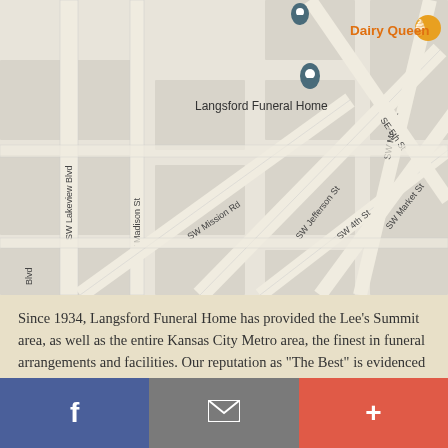[Figure (map): Google Maps view showing area around Langsford Funeral Home in Lee's Summit, Kansas City area. Streets visible include SW Lakeview Blvd, SW Madison St, SW Mission Rd, SW Jefferson St, SW 4th St, SW Market St, SW Main St, SE 5th St. Map pins mark Langsford Funeral Home and Issac Smith American Family Insurance. Dairy Queen label appears in upper right with orange icon.]
Since 1934, Langsford Funeral Home has provided the Lee's Summit area, as well as the entire Kansas City Metro area, the finest in funeral arrangements and facilities. Our reputation as "The Best" is evidenced by over 80 years of service and the multiple generations of families we have helped.
[Figure (infographic): Footer bar with three buttons: Facebook (blue), Email/mail (gray), and Add/plus (red-orange)]